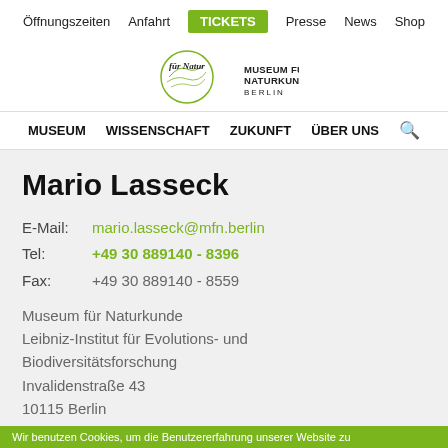Öffnungszeiten  Anfahrt  TICKETS  Presse  News  Shop
[Figure (logo): Museum für Naturkunde Berlin logo with handwritten 'für Natur' script and circular green emblem]
MUSEUM  WISSENSCHAFT  ZUKUNFT  ÜBER UNS  🔍
Mario Lasseck
E-Mail:   mario.lasseck@mfn.berlin
Tel:        +49 30 889140 - 8396
Fax:        +49 30 889140 - 8559
Museum für Naturkunde
Leibniz-Institut für Evolutions- und Biodiversitätsforschung
Invalidenstraße 43
10115 Berlin
Wir benutzen Cookies, um die Benutzererfahrung unserer Website zu